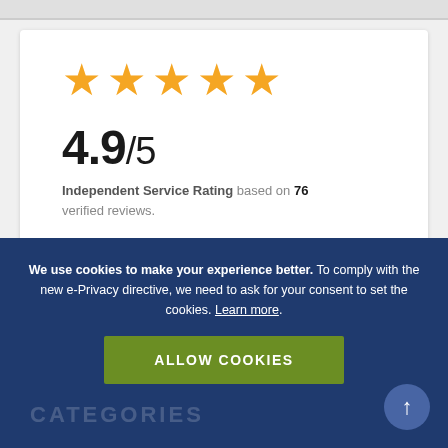[Figure (other): Five yellow star rating icons in a row]
4.9/5
Independent Service Rating based on 76 verified reviews.
[Figure (logo): Feefo logo with two orange circles]
Read all reviews
We use cookies to make your experience better. To comply with the new e-Privacy directive, we need to ask for your consent to set the cookies. Learn more.
ALLOW COOKIES